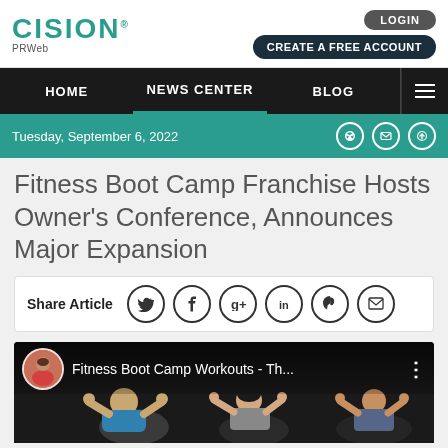CISION PRWeb
LOGIN | CREATE A FREE ACCOUNT
HOME | NEWS CENTER | BLOG
Tuesday, September 6, 2022
Fitness Boot Camp Franchise Hosts Owner's Conference, Announces Major Expansion
Share Article
[Figure (screenshot): Embedded YouTube video thumbnail showing 'Fitness Boot Camp Workouts - Th...' with people exercising in the background]